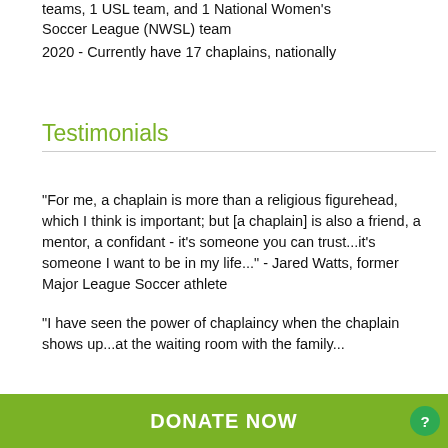teams, 1 USL team, and 1 National Women's Soccer League (NWSL) team
2020 - Currently have 17 chaplains, nationally
Testimonials
"For me, a chaplain is more than a religious figurehead, which I think is important; but [a chaplain] is also a friend, a mentor, a confidant - it's someone you can trust...it's someone I want to be in my life..." - Jared Watts, former Major League Soccer athlete
"I have seen the power of chaplaincy when the chaplain shows up...at the waiting room with the family...
DONATE NOW